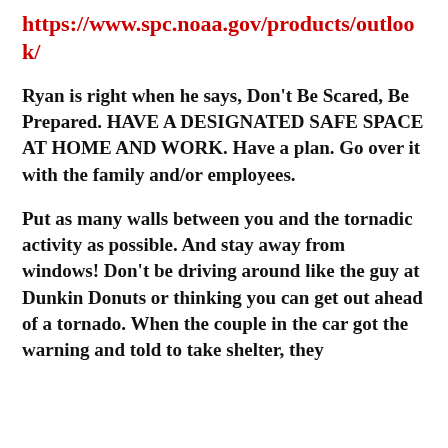https://www.spc.noaa.gov/products/outlook/
Ryan is right when he says, Don’t Be Scared, Be Prepared. HAVE A DESIGNATED SAFE SPACE AT HOME AND WORK. Have a plan. Go over it with the family and/or employees.
Put as many walls between you and the tornadic activity as possible. And stay away from windows! Don’t be driving around like the guy at Dunkin Donuts or thinking you can get out ahead of a tornado. When the couple in the car got the warning and told to take shelter, they